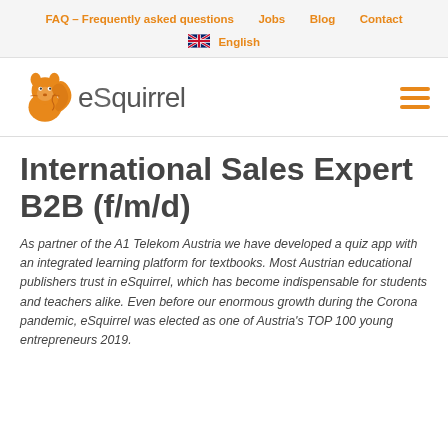FAQ – Frequently asked questions   Jobs   Blog   Contact   🇬🇧 English
[Figure (logo): eSquirrel logo with orange squirrel icon and gray text 'eSquirrel', plus orange hamburger menu icon on the right]
International Sales Expert B2B (f/m/d)
As partner of the A1 Telekom Austria we have developed a quiz app with an integrated learning platform for textbooks. Most Austrian educational publishers trust in eSquirrel, which has become indispensable for students and teachers alike. Even before our enormous growth during the Corona pandemic, eSquirrel was elected as one of Austria's TOP 100 young entrepreneurs 2019.